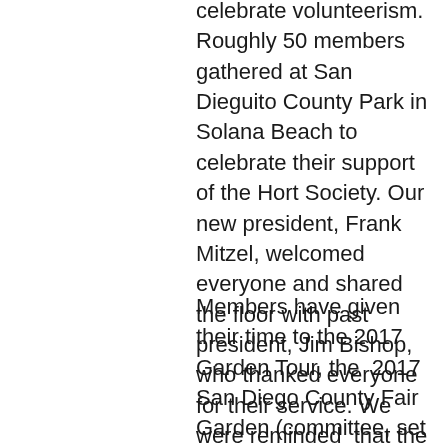celebrate volunteerism. Roughly 50 members gathered at San Dieguito County Park in Solana Beach to celebrate their support of the Hort Society. Our new president, Frank Mitzel, welcomed everyone and shared the floor with past president, Jim Bishop, who thanked everyone for their service. We were reminded that the Hort Society would not exist without volunteers.
Members have given their time to the 2017 Garden Tour, the 2017 San Diego County Fair Garden (committee, set up/break down, sitting at the Fair Garden during the Fair), setting up/greeting at meetings, new member events, newsletter volunteers (writers, editors